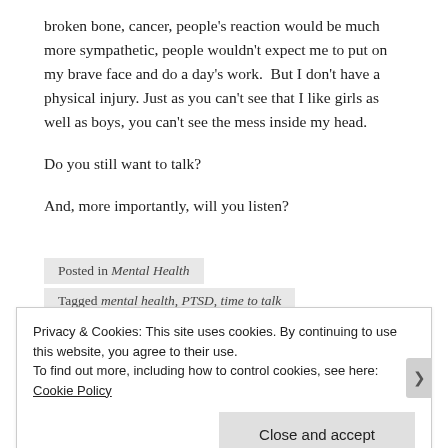broken bone, cancer, people's reaction would be much more sympathetic, people wouldn't expect me to put on my brave face and do a day's work.  But I don't have a physical injury. Just as you can't see that I like girls as well as boys, you can't see the mess inside my head.

Do you still want to talk?

And, more importantly, will you listen?
Posted in Mental Health
Tagged mental health, PTSD, time to talk
Privacy & Cookies: This site uses cookies. By continuing to use this website, you agree to their use.
To find out more, including how to control cookies, see here: Cookie Policy
Close and accept